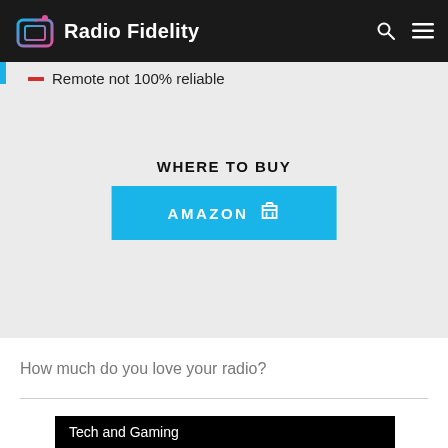Radio Fidelity
Remote not 100% reliable
WHERE TO BUY
AMAZON
How much do you love your radio?
[Figure (screenshot): Tech and Gaming video thumbnail with play button]